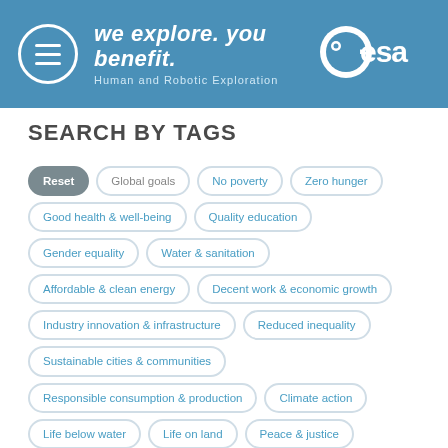we explore. you benefit. Human and Robotic Exploration | ESA
SEARCH BY TAGS
Reset
Global goals
No poverty
Zero hunger
Good health & well-being
Quality education
Gender equality
Water & sanitation
Affordable & clean energy
Decent work & economic growth
Industry innovation & infrastructure
Reduced inequality
Sustainable cities & communities
Responsible consumption & production
Climate action
Life below water
Life on land
Peace & justice
Partnerships
Benefits
Economic growth
Knowledge gain
Global Cooperation